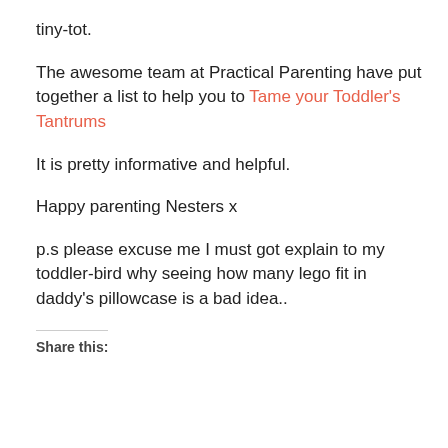tiny-tot.
The awesome team at Practical Parenting have put together a list to help you to Tame your Toddler's Tantrums
It is pretty informative and helpful.
Happy parenting Nesters x
p.s please excuse me I must got explain to my toddler-bird why seeing how many lego fit in daddy's pillowcase is a bad idea..
Share this: